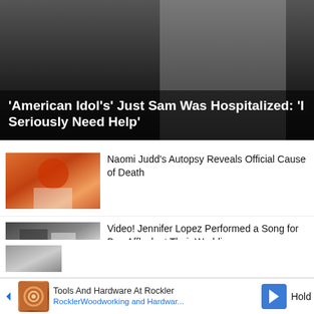[Figure (photo): Hero image of a person with dark braided hair, dark background with white outfit visible. Overlaid with article headline.]
'American Idol's' Just Sam Was Hospitalized: 'I Seriously Need Help'
[Figure (photo): Thumbnail photo of a woman with red/orange hair holding a microphone on an orange background stage setting - Naomi Judd.]
Naomi Judd's Autopsy Reveals Official Cause of Death
[Figure (photo): Thumbnail photo of Jennifer Lopez and Ben Affleck together at an event with signage in background.]
Video! Jennifer Lopez Performed a Song for Ben Affleck at Their Wedding
[Figure (photo): Thumbnail photo of Ben Affleck and Jennifer Lopez with paparazzi visible in background.]
Jennifer Lopez & Ben Affleck Pack on the PDA While Honeymooning in Milan
[Figure (photo): Partial thumbnail at bottom of page, partially visible.]
Hold
Tools And Hardware At Rockler
RocklerWoodworking and Hardwar...